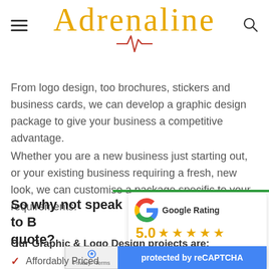Adrenaline (logo with hamburger menu and search icon)
From logo design, too brochures, stickers and business cards, we can develop a graphic design package to give your business a competitive advantage.
Whether you are a new business just starting out, or your existing business requiring a fresh, new look, we can customise a package specific to your requirements.
So why not speak to B quote?
[Figure (infographic): Google Rating widget showing 5.0 stars and a 'review us on Google' button]
Our Graphic & Logo Design projects are:
[Figure (infographic): reCAPTCHA widget: protected by reCAPTCHA, Privacy · Terms]
Affordably Priced